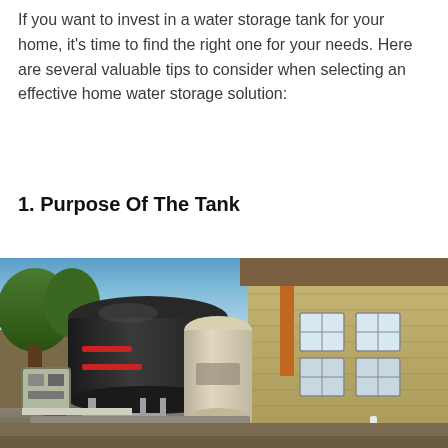If you want to invest in a water storage tank for your home, it's time to find the right one for your needs. Here are several valuable tips to consider when selecting an effective home water storage solution:
1. Purpose Of The Tank
[Figure (photo): Outdoor photo showing a large black cylindrical water storage tank connected to pipes and a pressure tank (cream/beige), with a control box, next to a residential house. Trees visible on the left, blue sky in the background.]